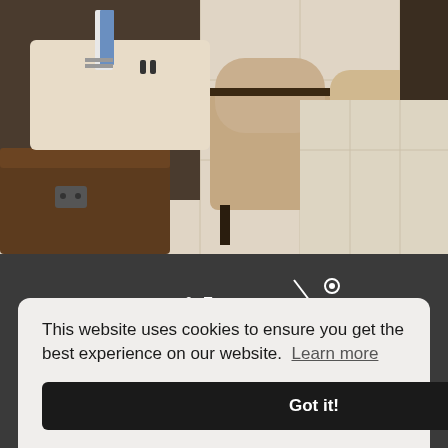[Figure (photo): Interior of a restaurant/cafe showing dining chairs (tan upholstered with dark wood frame, and brown leather bench seating), marble-look tables, light tile floor, and a dark vase with plant in background]
[Figure (logo): Bridgewater Upholstery logo — script font 'Bridgewater' with needle and thread graphic, 'UPHOLSTERY' in spaced capitals below, all in white on dark grey background]
[Figure (infographic): Two social media icon circles: Facebook (f) and Instagram (camera) in white on dark grey]
This website uses cookies to ensure you get the best experience on our website. Learn more
Got it!